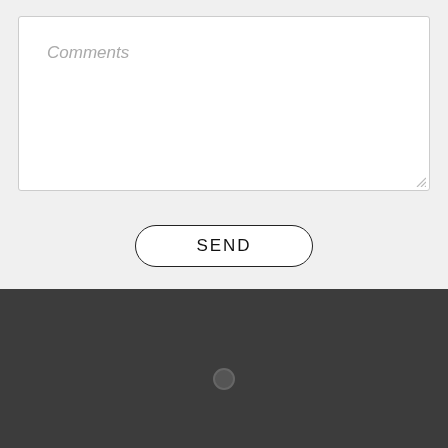Comments
SEND
[Figure (screenshot): Dark gray section with a small dark circle/dot in the center]
[Figure (infographic): Bottom navigation bar with a car/inventory icon and 'inventory' label, plus a dark circular chat FAB button with speech bubble icon on the right]